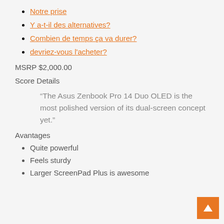Notre prise
Y a-t-il des alternatives?
Combien de temps ça va durer?
devriez-vous l'acheter?
MSRP $2,000.00
Score Details
“The Asus Zenbook Pro 14 Duo OLED is the most polished version of its dual-screen concept yet.”
Avantages
Quite powerful
Feels sturdy
Larger ScreenPad Plus is awesome